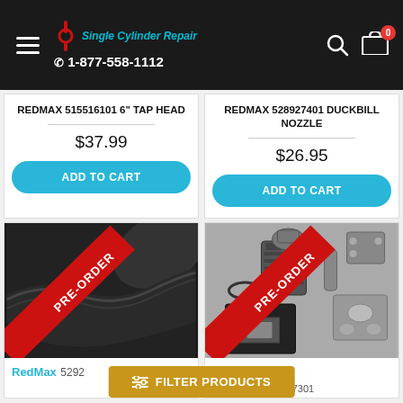Single Cylinder Repair | 1-877-558-1112
REDMAX 515516101 6" TAP HEAD
$37.99
ADD TO CART
REDMAX 528927401 DUCKBILL NOZZLE
$26.95
ADD TO CART
[Figure (photo): Black tube/hose part with PRE-ORDER ribbon]
RedMax 5292...
[Figure (photo): Engine rebuild kit parts (cylinder, piston, gaskets) with PRE-ORDER ribbon]
RedMax 544259201 577257301
FILTER PRODUCTS